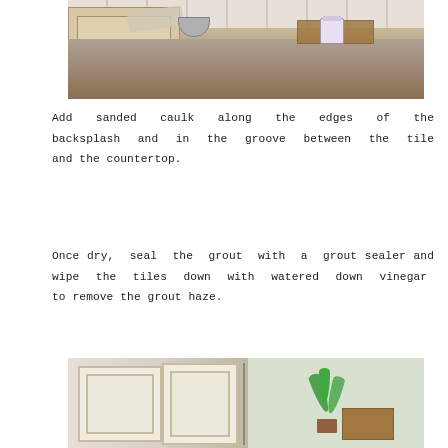[Figure (photo): Kitchen countertop area showing granite counters with white cabinets, a bucket of grout or caulk, a metal mixing bowl, rags, and a wooden board — tiling supplies during a backsplash installation project.]
Add sanded caulk along the edges of the backsplash and in the groove between the tile and the countertop.
Once dry, seal the grout with a grout sealer and wipe the tiles down with watered down vinegar to remove the grout haze.
[Figure (photo): Finished kitchen area showing white cabinet doors and a decorative fern plant on the right side, with a wooden furniture piece visible.]